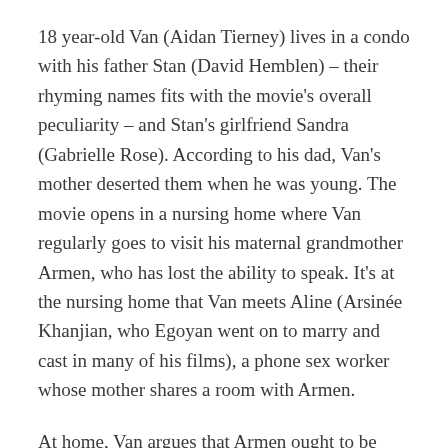18 year-old Van (Aidan Tierney) lives in a condo with his father Stan (David Hemblen) – their rhyming names fits with the movie's overall peculiarity – and Stan's girlfriend Sandra (Gabrielle Rose). According to his dad, Van's mother deserted them when he was young. The movie opens in a nursing home where Van regularly goes to visit his maternal grandmother Armen, who has lost the ability to speak. It's at the nursing home that Van meets Aline (Arsinée Khanjian, who Egoyan went on to marry and cast in many of his films), a phone sex worker whose mother shares a room with Armen.
At home, Van argues that Armen ought to be living with his and his father, considers that his dad...